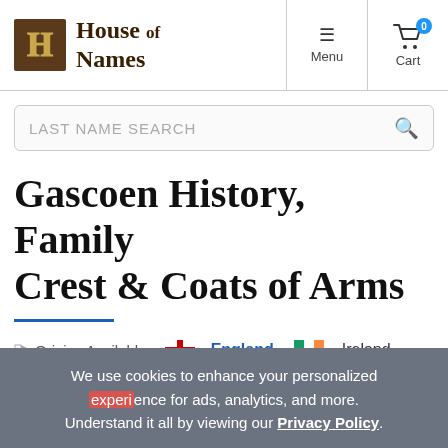House of Names — Menu | Cart (0)
LAST NAME SEARCH
Gascoen History, Family Crest & Coats of Arms
Origins Available: England  Ireland
We use cookies to enhance your personalized experience for ads, analytics, and more. Understand it all by viewing our Privacy Policy.